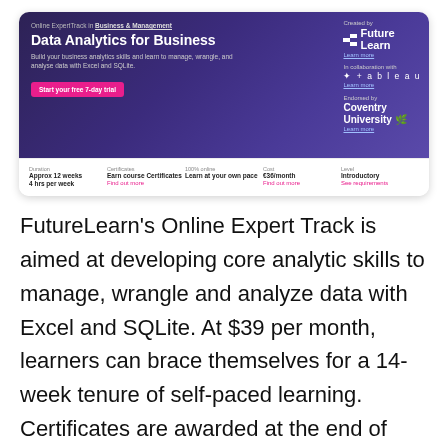[Figure (screenshot): FutureLearn 'Data Analytics for Business' Online ExpertTrack banner. Shows course title, description, FutureLearn and Tableau logos, Coventry University endorsement, and course details (Duration: Approx 12 weeks, 4 hrs per week; Certificates: Earn course Certificates; 100% online: Learn at your own pace; Cost: €36/month; Level: Introductory).]
FutureLearn's Online Expert Track is aimed at developing core analytic skills to manage, wrangle and analyze data with Excel and SQLite. At $39 per month, learners can brace themselves for a 14-week tenure of self-paced learning. Certificates are awarded at the end of completing each class and there are three online data analytics courses in total.